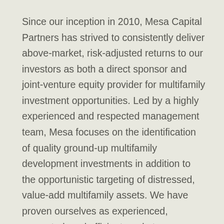Since our inception in 2010, Mesa Capital Partners has strived to consistently deliver above-market, risk-adjusted returns to our investors as both a direct sponsor and joint-venture equity provider for multifamily investment opportunities. Led by a highly experienced and respected management team, Mesa focuses on the identification of quality ground-up multifamily development investments in addition to the opportunistic targeting of distressed, value-add multifamily assets. We have proven ourselves as experienced, respected, and efficient market participants through every phase of the real estate market cycle.